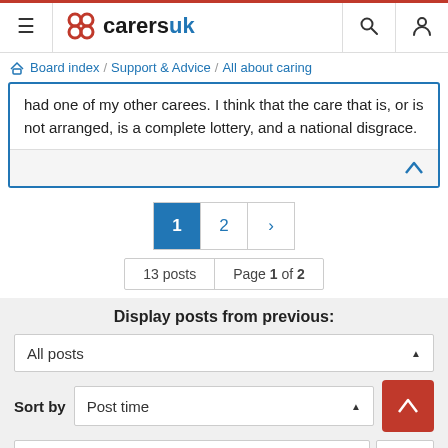CarersUK navigation bar with logo, search, and user icons
Board index / Support & Advice / All about caring
had one of my other carees. I think that the care that is, or is not arranged, is a complete lottery, and a national disgrace.
Pagination: 1 2 >
13 posts  Page 1 of 2
Display posts from previous: All posts  Sort by Post time  Ascending  Go